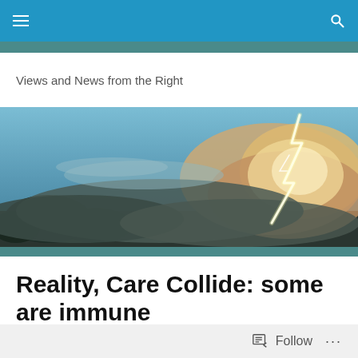Navigation bar with menu and search icons
Views and News from the Right
[Figure (photo): Dramatic storm photo showing lightning striking through glowing clouds with dark trees silhouetted at the bottom]
Reality, Care Collide: some are immune
Posted by Bullright
Follow ...